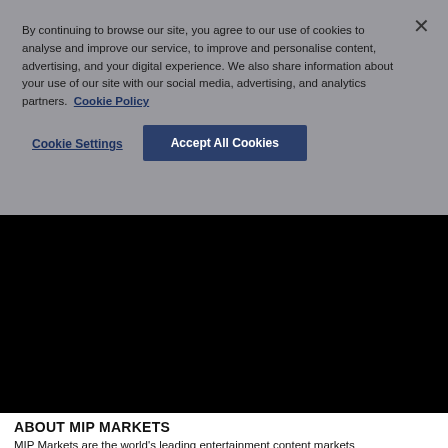By continuing to browse our site, you agree to our use of cookies to analyse and improve our service, to improve and personalise content, advertising, and your digital experience. We also share information about your use of our site with our social media, advertising, and analytics partners. Cookie Policy
Cookie Settings
Accept All Cookies
[Figure (other): Black video player area]
ABOUT MIP MARKETS
MIP Markets are the world's leading entertainment content markets